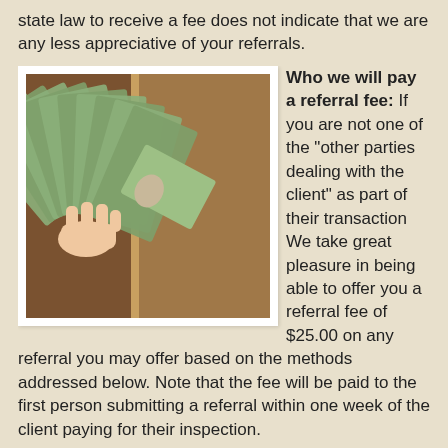state law to receive a fee does not indicate that we are any less appreciative of your referrals.
[Figure (photo): A hand holding a large fan of US dollar bills ($20 bills visible) in front of a wooden door background.]
Who we will pay a referral fee: If you are not one of the "other parties dealing with the client" as part of their transaction We take great pleasure in being able to offer you a referral fee of $25.00 on any referral you may offer based on the methods addressed below. Note that the fee will be paid to the first person submitting a referral within one week of the client paying for their inspection.
About Payment: Note that some inspection payments are